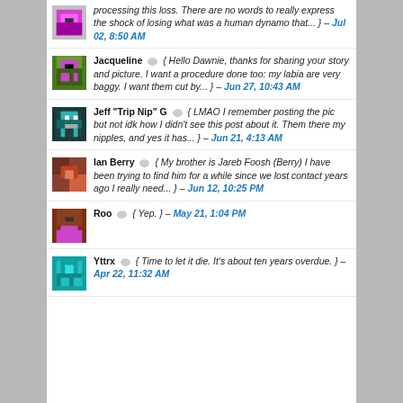processing this loss. There are no words to really express the shock of losing what was a human dynamo that... } – Jul 02, 8:50 AM
Jacqueline { Hello Dawnie, thanks for sharing your story and picture. I want a procedure done too: my labia are very baggy. I want them cut by... } – Jun 27, 10:43 AM
Jeff "Trip Nip" G { LMAO I remember posting the pic but not idk how I didn't see this post about it. Them there my nipples, and yes it has... } – Jun 21, 4:13 AM
Ian Berry { My brother is Jareb Foosh (Berry) I have been trying to find him for a while since we lost contact years ago I really need... } – Jun 12, 10:25 PM
Roo { Yep. } – May 21, 1:04 PM
Yttrx { Time to let it die. It's about ten years overdue. } – Apr 22, 11:32 AM